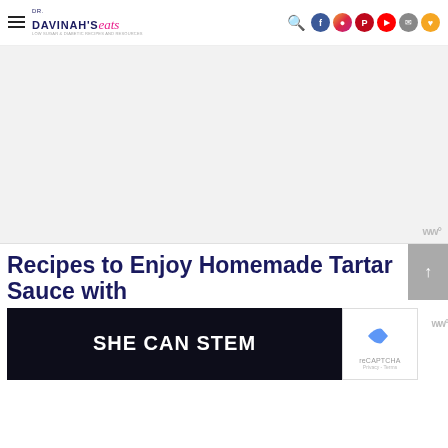DR. DAVINAH'S eats
[Figure (photo): Large blank/white image area with a small 'w°' watermark in the bottom right corner]
Recipes to Enjoy Homemade Tartar Sauce with
[Figure (photo): Dark banner advertisement showing 'SHE CAN STEM' text in white bold letters on dark background]
[Figure (other): reCAPTCHA badge with blue arrow icon]